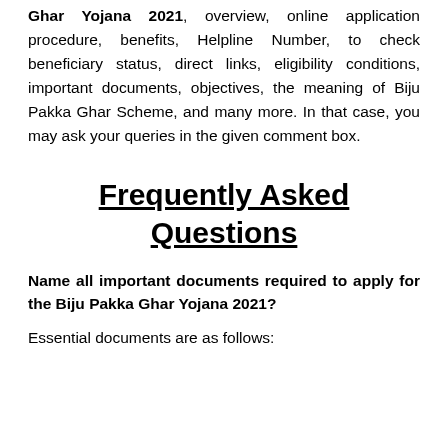Ghar Yojana 2021, overview, online application procedure, benefits, Helpline Number, to check beneficiary status, direct links, eligibility conditions, important documents, objectives, the meaning of Biju Pakka Ghar Scheme, and many more. In that case, you may ask your queries in the given comment box.
Frequently Asked Questions
Name all important documents required to apply for the Biju Pakka Ghar Yojana 2021?
Essential documents are as follows: